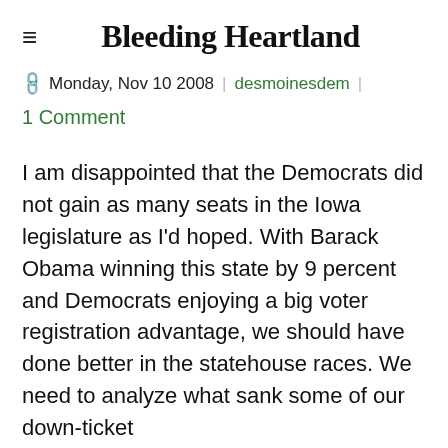Bleeding Heartland
Monday, Nov 10 2008 | desmoinesdem |
1 Comment
I am disappointed that the Democrats did not gain as many seats in the Iowa legislature as I'd hoped. With Barack Obama winning this state by 9 percent and Democrats enjoying a big voter registration advantage, we should have done better in the statehouse races. We need to analyze what sank some of our down-ticket